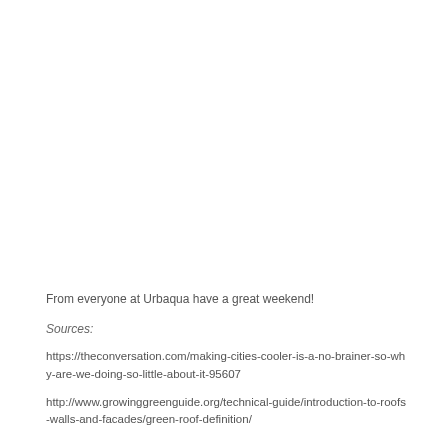From everyone at Urbaqua have a great weekend!
Sources:
https://theconversation.com/making-cities-cooler-is-a-no-brainer-so-why-are-we-doing-so-little-about-it-95607
http://www.growinggreenguide.org/technical-guide/introduction-to-roofs-walls-and-facades/green-roof-definition/